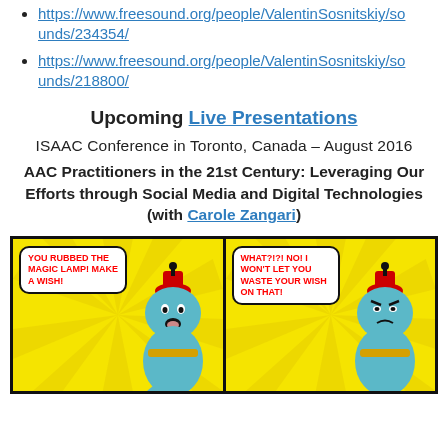https://www.freesound.org/people/ValentinSosnitskiy/sounds/234354/
https://www.freesound.org/people/ValentinSosnitskiy/sounds/218800/
Upcoming Live Presentations
ISAAC Conference in Toronto, Canada – August 2016
AAC Practitioners in the 21st Century: Leveraging Our Efforts through Social Media and Digital Technologies (with Carole Zangari)
[Figure (illustration): Two-panel comic strip featuring a blue genie character on a yellow sunburst background. Left panel: genie says 'YOU RUBBED THE MAGIC LAMP! MAKE A WISH!' Right panel: genie says 'WHAT?!?! NO! I WON'T LET YOU WASTE YOUR WISH ON THAT!']